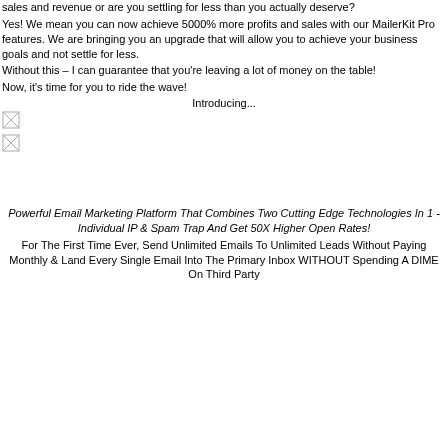sales and revenue or are you settling for less than you actually deserve?
Yes! We mean you can now achieve 5000% more profits and sales with our MailerKit Pro features. We are bringing you an upgrade that will allow you to achieve your business goals and not settle for less.
Without this – I can guarantee that you're leaving a lot of money on the table!
Now, it's time for you to ride the wave!
Introducing...
[Figure (illustration): Broken image placeholder 1]
[Figure (illustration): Broken image placeholder 2]
Powerful Email Marketing Platform That Combines Two Cutting Edge Technologies In 1 - Individual IP & Spam Trap And Get 50X Higher Open Rates!
For The First Time Ever, Send Unlimited Emails To Unlimited Leads Without Paying Monthly & Land Every Single Email Into The Primary Inbox WITHOUT Spending A DIME On Third Party